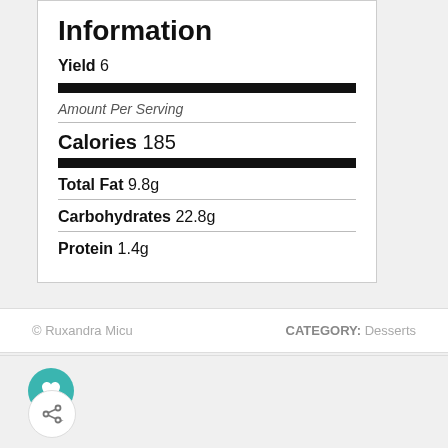Information
Yield 6
Amount Per Serving
Calories 185
Total Fat 9.8g
Carbohydrates 22.8g
Protein 1.4g
© Ruxandra Micu   CATEGORY: Desserts
[Figure (other): Heart favorite icon button (teal circle with white heart)]
[Figure (other): Share icon button (white circle with share symbol)]